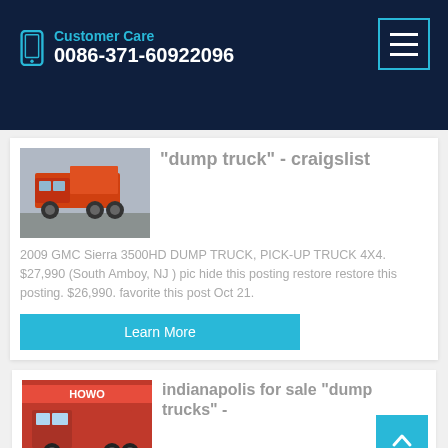Customer Care
0086-371-60922096
"dump truck" - craigslist
2009 GMC Sierra 3500HD DUMP TRUCK, PICK-UP TRUCK 4X4. $27,990 (South Amboy, NJ ) pic hide this posting restore restore this posting. $26,990. favorite this post Oct 21.
Learn More
[Figure (photo): Red/orange dump truck parked outdoors]
indianapolis for sale "dump trucks" -
[Figure (photo): HOWO red truck at a dealership]